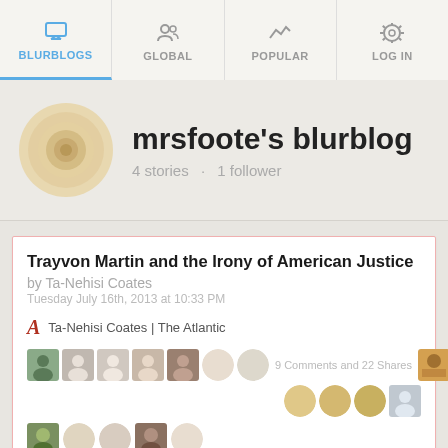BLURBLOGS  GLOBAL  POPULAR  LOG IN
mrsfoote's blurblog
4 stories · 1 follower
Trayvon Martin and the Irony of American Justice
by Ta-Nehisi Coates
Tuesday July 16th, 2013 at 10:33 PM
Ta-Nehisi Coates | The Atlantic
9 Comments and 22 Shares